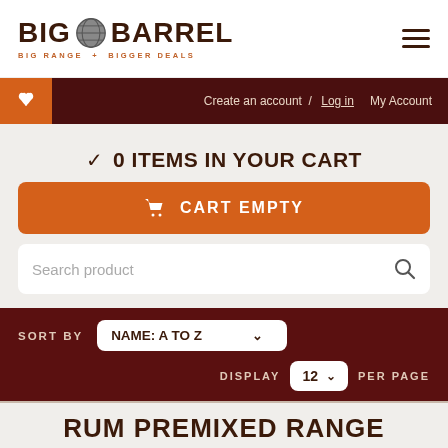[Figure (logo): Big Barrel logo with barrel icon and tagline 'BIG RANGE + BIGGER DEALS']
Create an account / Log in  My Account
0 ITEMS IN YOUR CART
CART EMPTY
Search product
SORT BY  NAME: A TO Z
DISPLAY  12  PER PAGE
RUM PREMIXED RANGE